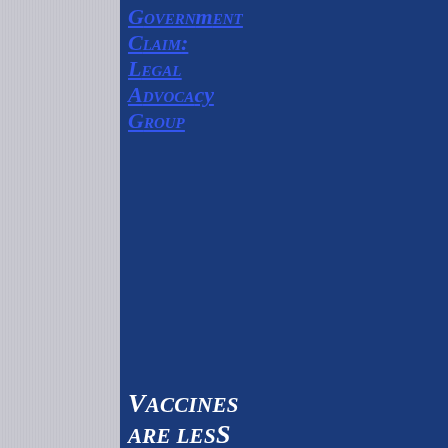Government Claim: Legal Advocacy Group
Vaccines are less effective/effectively in stopping the spread of COVID-19 that